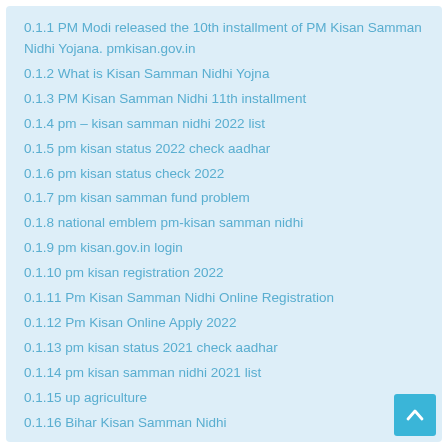0.1.1 PM Modi released the 10th installment of PM Kisan Samman Nidhi Yojana. pmkisan.gov.in
0.1.2 What is Kisan Samman Nidhi Yojna
0.1.3 PM Kisan Samman Nidhi 11th installment
0.1.4 pm – kisan samman nidhi 2022 list
0.1.5 pm kisan status 2022 check aadhar
0.1.6 pm kisan status check 2022
0.1.7 pm kisan samman fund problem
0.1.8 national emblem pm-kisan samman nidhi
0.1.9 pm kisan.gov.in login
0.1.10 pm kisan registration 2022
0.1.11 Pm Kisan Samman Nidhi Online Registration
0.1.12 Pm Kisan Online Apply 2022
0.1.13 pm kisan status 2021 check aadhar
0.1.14 pm kisan samman nidhi 2021 list
0.1.15 up agriculture
0.1.16 Bihar Kisan Samman Nidhi
0.1.17 Kisan Samman Nidhi rashi